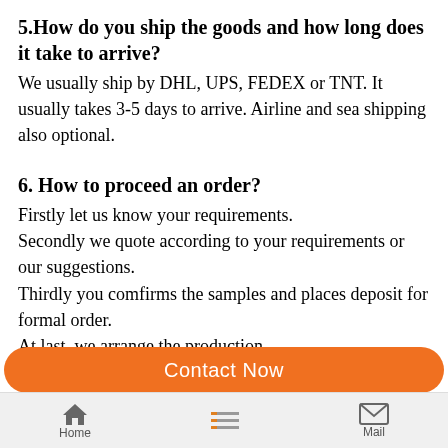5.How do you ship the goods and how long does it take to arrive?
We usually ship by DHL, UPS, FEDEX or TNT. It usually takes 3-5 days to arrive. Airline and sea shipping also optional.
6. How to proceed an order?
Firstly let us know your requirements.
Secondly we quote according to your requirements or our suggestions.
Thirdly you comfirms the samples and places deposit for formal order.
At last, we arrange the production.
Contact Now
Home   Mail